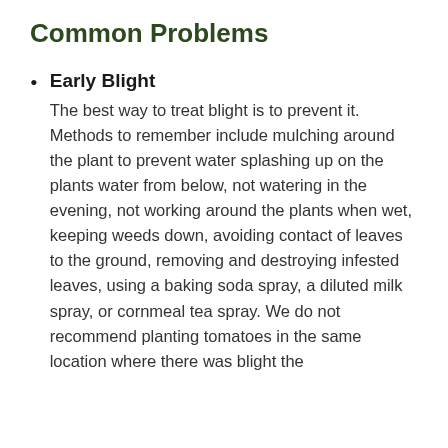Common Problems
Early Blight
The best way to treat blight is to prevent it. Methods to remember include mulching around the plant to prevent water splashing up on the plants water from below, not watering in the evening, not working around the plants when wet, keeping weeds down, avoiding contact of leaves to the ground, removing and destroying infested leaves, using a baking soda spray, a diluted milk spray, or cornmeal tea spray. We do not recommend planting tomatoes in the same location where there was blight the